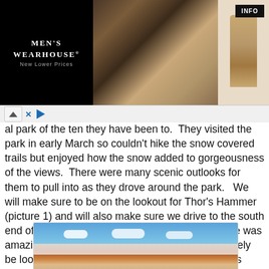[Figure (photo): Men's Wearhouse advertisement banner showing a couple in formal wear (man in dark suit, woman in light dress) and a man in a tan/beige suit, with INFO button on the right side. Black background on left with Men's Wearhouse logo.]
al park of the ten they have been to.  They visited the park in early March so couldn't hike the snow covered trails but enjoyed how the snow added to gorgeousness of the views.  There were many scenic outlooks for them to pull into as they drove around the park.   We will make sure to be on the lookout for Thor's Hammer (picture 1) and will also make sure we drive to the south end of the road to Rainbow Point as the view there was amazing according to Joe and Nicole.  I will definitely be looking for Natural Bridge, picture 3.  Now that's something you don't see everyday!
[Figure (photo): A scenic outdoor photo showing a blue sky with white clouds and snow-covered rocky terrain/canyon landscape, likely Bryce Canyon National Park with red rock formations and snow.]